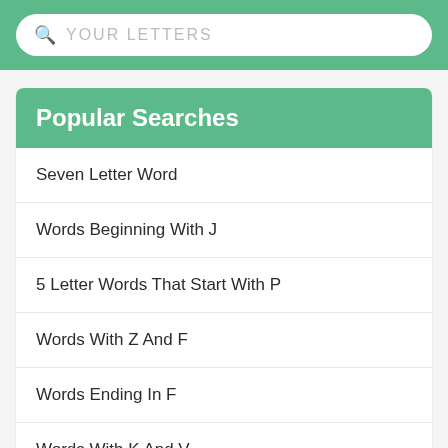[Figure (screenshot): Search bar with magnifying glass icon and placeholder text YOUR LETTERS on green background]
Popular Searches
Seven Letter Word
Words Beginning With J
5 Letter Words That Start With P
Words With Z And F
Words Ending In F
Words With K And V
Words With Q And H